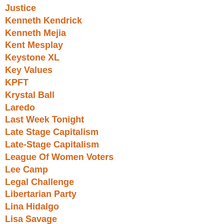Justice
Kenneth Kendrick
Kenneth Mejia
Kent Mesplay
Keystone XL
Key Values
KPFT
Krystal Ball
Laredo
Last Week Tonight
Late Stage Capitalism
Late-Stage Capitalism
League Of Women Voters
Lee Camp
Legal Challenge
Libertarian Party
Lina Hidalgo
Lisa Savage
Local Democracy
Mail-In Ballots
Maine